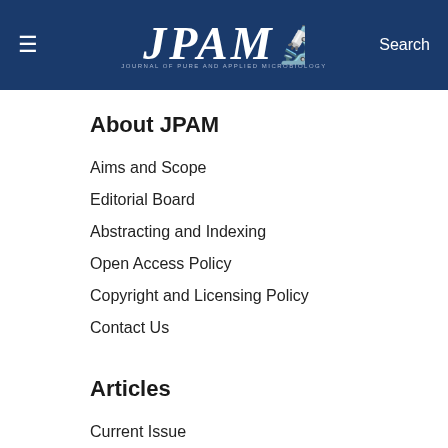≡  JPAM  Search
About JPAM
Aims and Scope
Editorial Board
Abstracting and Indexing
Open Access Policy
Copyright and Licensing Policy
Contact Us
Articles
Current Issue
Spl. Issue, May 2020
Articles In Press
Archive